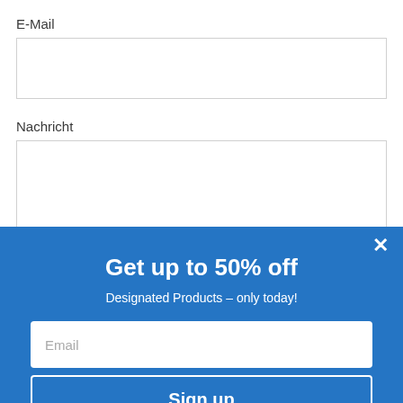E-Mail
[Figure (screenshot): Empty text input field for E-Mail]
Nachricht
[Figure (screenshot): Empty textarea field for Nachricht message]
[Figure (infographic): Blue popup overlay with close X button, title 'Get up to 50% off', subtitle 'Designated Products – only today!', email input field, and Sign up button]